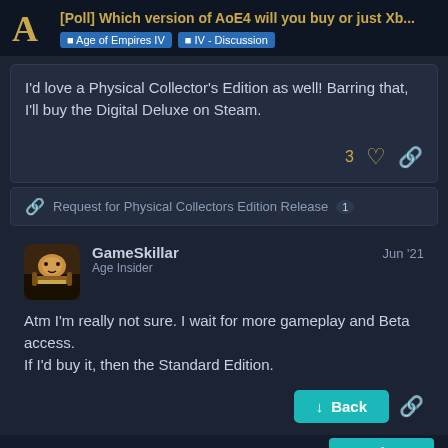[Poll] Which version of AoE4 will you buy or just Xb... | Age of Empires IV | IV - Discussion
I'd love a Physical Collector's Edition as well! Barring that, I'll buy the Digital Deluxe on Steam.
3 ♡ 🔗
🔗 Request for Physical Collectors Edition Release 1
GameSkillar
Age Insider
Jun '21
Atm I'm really not sure. I wait for more gameplay and Beta access. If I'd buy it, then the Standard Edition.
↓ Back
10 DAYS LATER | 16 / 47